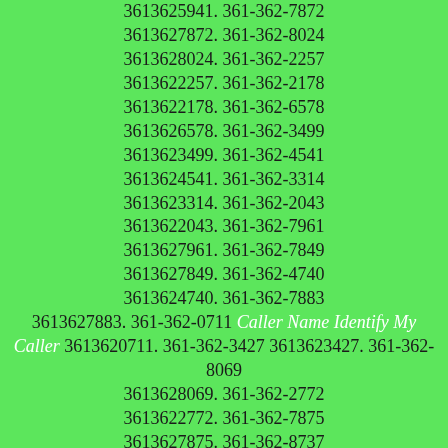3613625941. 361-362-7872 3613627872. 361-362-8024 3613628024. 361-362-2257 3613622257. 361-362-2178 3613622178. 361-362-6578 3613626578. 361-362-3499 3613623499. 361-362-4541 3613624541. 361-362-3314 3613623314. 361-362-2043 3613622043. 361-362-7961 3613627961. 361-362-7849 3613627849. 361-362-4740 3613624740. 361-362-7883 3613627883. 361-362-0711 Caller Name Identify My Caller 3613620711. 361-362-3427 3613623427. 361-362-8069 3613628069. 361-362-2772 3613622772. 361-362-7875 3613627875. 361-362-8737 3613628737. 361-362-1539 3613621539. 361-362-4814 3613624814. 361-362-8598 3613628598. 361-362-4877 3613624877. 361-362-1594 3613621594. 361-362-6420